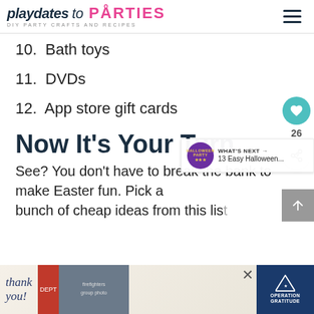playdates to PARTIES - DIY PARTY CRAFTS AND RECIPES
10. Bath toys
11. DVDs
12. App store gift cards
Now It's Your Turn
See? You don't have to break the bank to make Easter fun. Pick a bunch of cheap ideas from this list